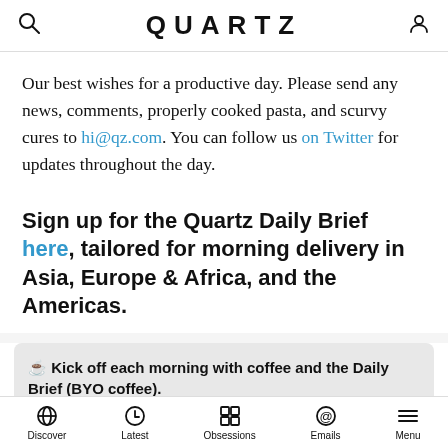QUARTZ
Our best wishes for a productive day. Please send any news, comments, properly cooked pasta, and scurvy cures to hi@qz.com. You can follow us on Twitter for updates throughout the day.
Sign up for the Quartz Daily Brief here, tailored for morning delivery in Asia, Europe & Africa, and the Americas.
☕ Kick off each morning with coffee and the Daily Brief (BYO coffee).
Enter your email
Discover | Latest | Obsessions | Emails | Menu